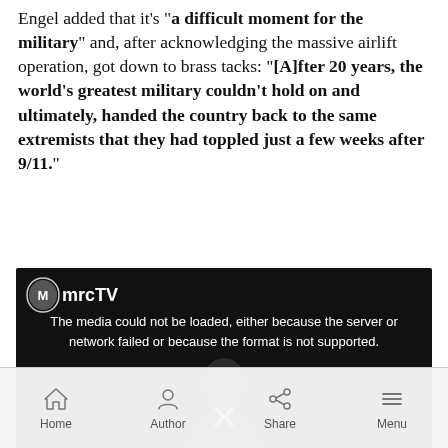Engel added that it's "a difficult moment for the military" and, after acknowledging the massive airlift operation, got down to brass tacks: "[A]fter 20 years, the world's greatest military couldn't hold on and ultimately, handed the country back to the same extremists that they had toppled just a few weeks after 9/11."
[Figure (screenshot): MrcTV video player showing a person speaking, with error message: The media could not be loaded, either because the server or network failed or because the format is not supported. An X close button is visible.]
Home | Author | Share | Menu